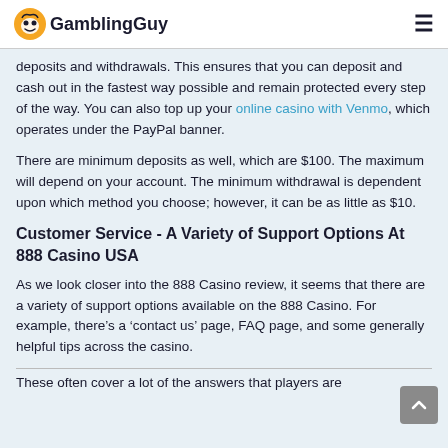GamblingGuy
deposits and withdrawals. This ensures that you can deposit and cash out in the fastest way possible and remain protected every step of the way. You can also top up your online casino with Venmo, which operates under the PayPal banner.
There are minimum deposits as well, which are $100. The maximum will depend on your account. The minimum withdrawal is dependent upon which method you choose; however, it can be as little as $10.
Customer Service - A Variety of Support Options At 888 Casino USA
As we look closer into the 888 Casino review, it seems that there are a variety of support options available on the 888 Casino. For example, there’s a ‘contact us’ page, FAQ page, and some generally helpful tips across the casino.
These often cover a lot of the answers that players are